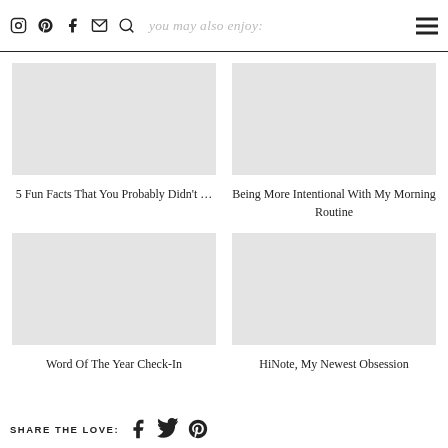you may also enjoy:
5 Fun Facts That You Probably Didn't …
Being More Intentional With My Morning Routine
Word Of The Year Check-In
HiNote, My Newest Obsession
SHARE THE LOVE: